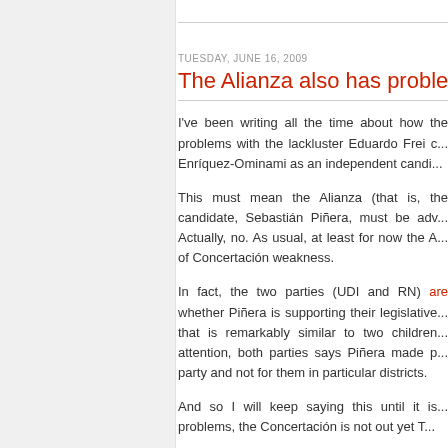TUESDAY, JUNE 16, 2009
The Alianza also has problems
I've been writing all the time about how the problems with the lackluster Eduardo Frei c... Enríquez-Ominami as an independent candi...
This must mean the Alianza (that is, the candidate, Sebastián Piñera, must be adv... Actually, no. As usual, at least for now the A... of Concertación weakness.
In fact, the two parties (UDI and RN) are... whether Piñera is supporting their legislative... that is remarkably similar to two children... attention, both parties says Piñera made p... party and not for them in particular districts.
And so I will keep saying this until it is... problems, the Concertación is not out yet T...